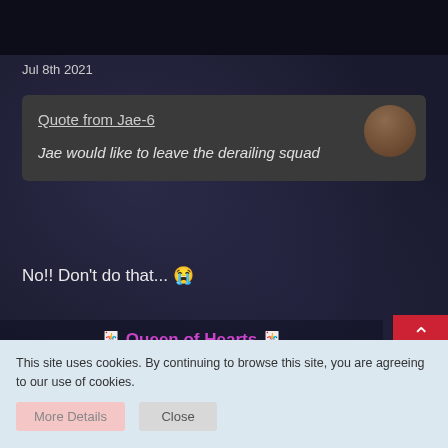Jul 8th 2021
Quote from Jae-6
Jae would like to leave the derailing squad
No!! Don't do that... 😭
🃏 Queen of Hearts 🃏
[Figure (photo): Colorful image showing green, orange, yellow and red tones - appears to be a person with colorful hair or foliage]
This site uses cookies. By continuing to browse this site, you are agreeing to our use of cookies.
More Details   Close